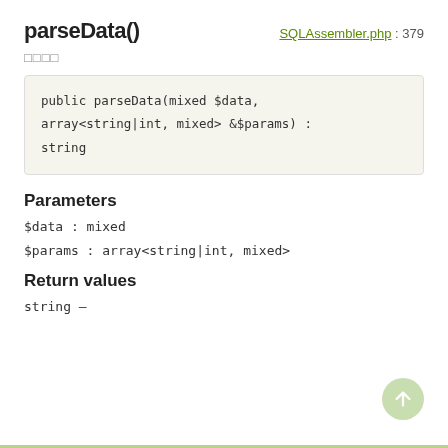parseData()
SQLAssembler.php : 379
□□□□
public parseData(mixed $data, array<string|int, mixed> &$params) : string
Parameters
$data : mixed
$params : array<string|int, mixed>
Return values
string —